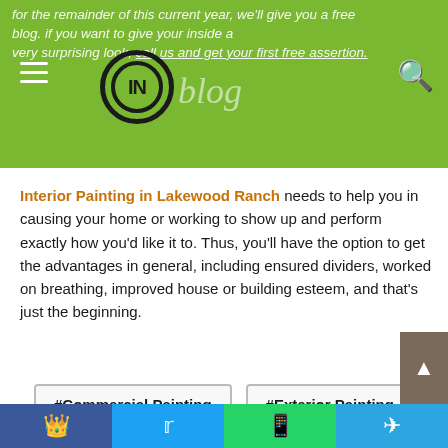for the remainder of this current year, we'll give you a free blog. if you want to give your inside a very surprising look, call us and get your first free assertion.
Interior Painting in Lakewood Ranch needs to help you in causing your home or working to show up and perform exactly how you'd like it to. Thus, you'll have the option to get the advantages in general, including ensured dividers, worked on breathing, improved house or building esteem, and that's just the beginning.
#Commercial Painting
#Exterior Painting
#Interior Painting
#Paint Cabinets
#Paint Doors
#Residential Painting
Facebook | Twitter | WhatsApp | Telegram